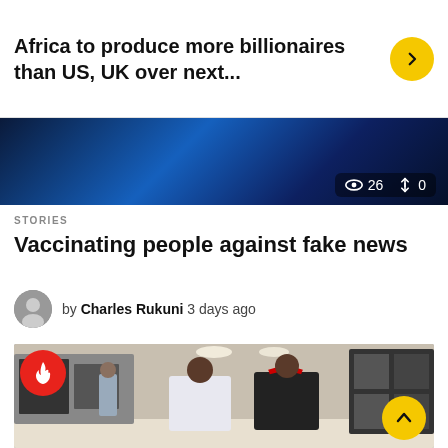Africa to produce more billionaires than US, UK over next...
[Figure (screenshot): Dark blue gradient video/image strip with view count 26 and share count 0]
STORIES
Vaccinating people against fake news
by Charles Rukuni 3 days ago
[Figure (photo): Two men talking in an electronics/appliance store, one wearing a black uniform with red collar, the other in a white shirt. A fire/trending badge is on the top left and a scroll-up arrow button on the bottom right.]